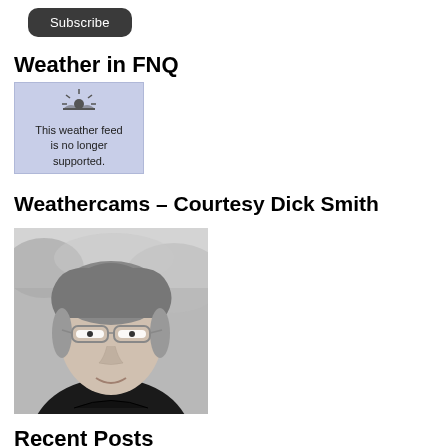[Figure (other): Subscribe button - dark rounded rectangle with white text 'Subscribe']
Weather in FNQ
[Figure (other): Weather widget with light purple/blue background showing a sunset icon and text 'This weather feed is no longer supported.']
Weathercams – Courtesy Dick Smith
[Figure (photo): Black and white portrait photo of an older man with glasses, grey hair, wearing a dark shirt, smiling slightly against a blurred outdoor background — Dick Smith.]
Recent Posts